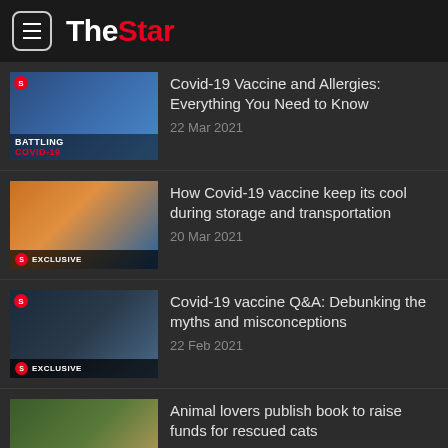The Star
Covid-19 Vaccine and Allergies: Everything You Need to Know
22 Mar 2021
How Covid-19 vaccine keep its cool during storage and transportation
20 Mar 2021
Covid-19 vaccine Q&A: Debunking the myths and misconceptions
22 Feb 2021
Animal lovers publish book to raise funds for rescued cats
12 Feb 2021
Malaysians in the UK share their experience after getting Covid-19